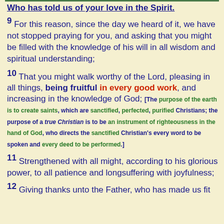Who has told us of your love in the Spirit.
9 For this reason, since the day we heard of it, we have not stopped praying for you, and asking that you might be filled with the knowledge of his will in all wisdom and spiritual understanding;
10 That you might walk worthy of the Lord, pleasing in all things, being fruitful in every good work, and increasing in the knowledge of God; [The purpose of the earth is to create saints, which are sanctified, perfected, purified Christians; the purpose of a true Christian is to be an instrument of righteousness in the hand of God, who directs the sanctified Christian's every word to be spoken and every deed to be performed.]
11 Strengthened with all might, according to his glorious power, to all patience and longsuffering with joyfulness;
12 Giving thanks unto the Father, who has made us fit...